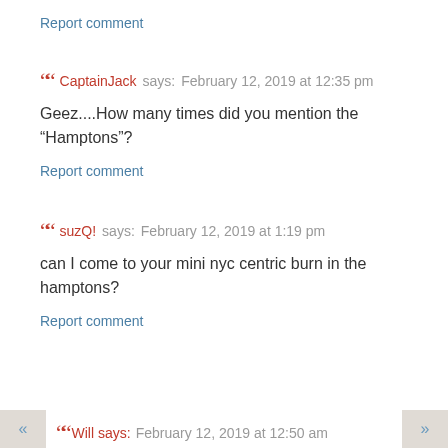Report comment
CaptainJack says: February 12, 2019 at 12:35 pm
Geez....How many times did you mention the “Hamptons”?
Report comment
suzQ! says: February 12, 2019 at 1:19 pm
can I come to your mini nyc centric burn in the hamptons?
Report comment
Will says: February 12, 2019 at 12:50 am